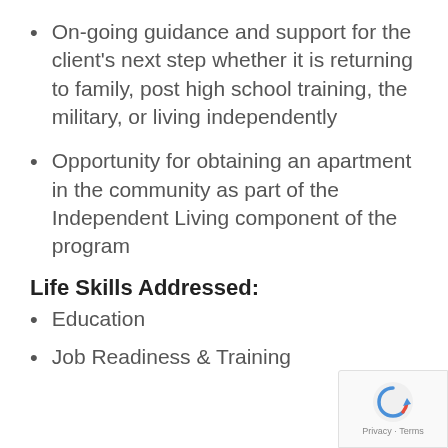On-going guidance and support for the client's next step whether it is returning to family, post high school training, the military, or living independently
Opportunity for obtaining an apartment in the community as part of the Independent Living component of the program
Life Skills Addressed:
Education
Job Readiness & Training